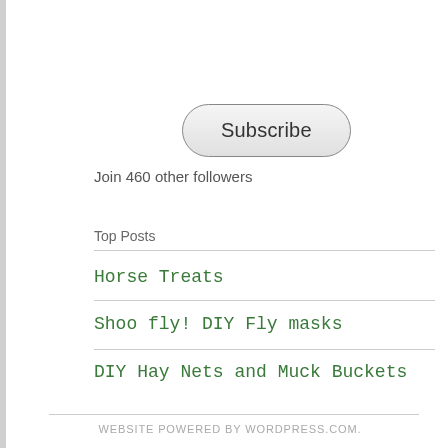[Figure (other): Subscribe button with rounded pill shape and gradient background]
Join 460 other followers
Top Posts
Horse Treats
Shoo fly! DIY Fly masks
DIY Hay Nets and Muck Buckets
WEBSITE POWERED BY WORDPRESS.COM.